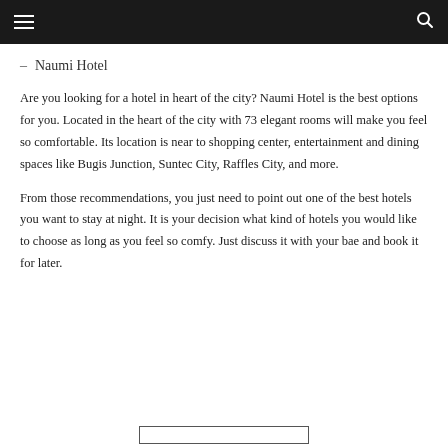☰  🔍
– Naumi Hotel
Are you looking for a hotel in heart of the city? Naumi Hotel is the best options for you. Located in the heart of the city with 73 elegant rooms will make you feel so comfortable. Its location is near to shopping center, entertainment and dining spaces like Bugis Junction, Suntec City, Raffles City, and more.
From those recommendations, you just need to point out one of the best hotels you want to stay at night. It is your decision what kind of hotels you would like to choose as long as you feel so comfy. Just discuss it with your bae and book it for later.